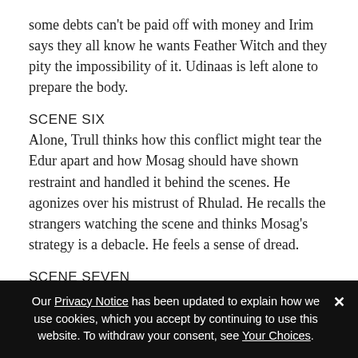some debts can't be paid off with money and Irim says they all know he wants Feather Witch and they pity the impossibility of it. Udinaas is left alone to prepare the body.
SCENE SIX
Alone, Trull thinks how this conflict might tear the Edur apart and how Mosag should have shown restraint and handled it behind the scenes. He agonizes over his mistrust of Rhulad. He recalls the strangers watching the scene and thinks Mosag's strategy is a debacle. He feels a sense of dread.
SCENE SEVEN
Our Privacy Notice has been updated to explain how we use cookies, which you accept by continuing to use this website. To withdraw your consent, see Your Choices.